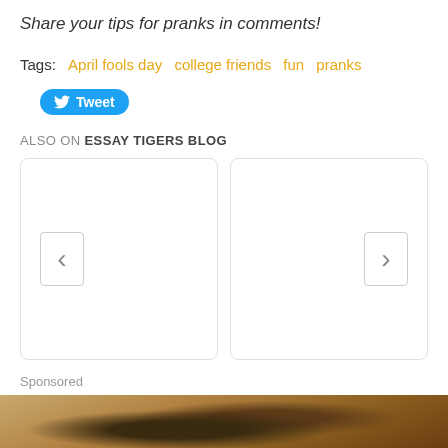Share your tips for pranks in comments!
Tags: April fools day   college friends   fun   pranks
[Figure (other): Tweet button with Twitter bird icon]
ALSO ON ESSAY TIGERS BLOG
[Figure (other): Two content cards side by side with left and right navigation arrows, empty white cards with rounded borders]
Sponsored
[Figure (photo): Sponsored image showing a brown/tan background with dark shapes, partial view at bottom of page]